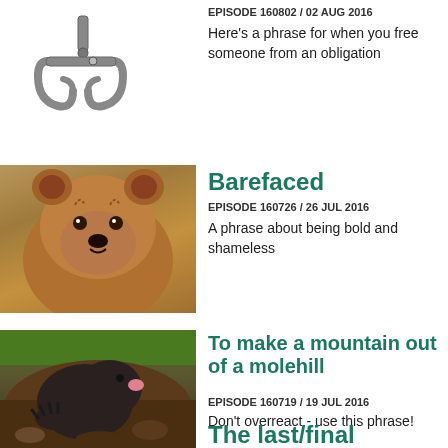[Figure (photo): Metal hook/coat hook image in gray tones]
EPISODE 160802 / 02 AUG 2016
Here's a phrase for when you free someone from an obligation
[Figure (photo): Brown bear looking at camera]
Barefaced
EPISODE 160726 / 26 JUL 2016
A phrase about being bold and shameless
[Figure (photo): Mole digging in dirt]
To make a mountain out of a molehill
EPISODE 160719 / 19 JUL 2016
Don't overreact - use this phrase!
The last/final